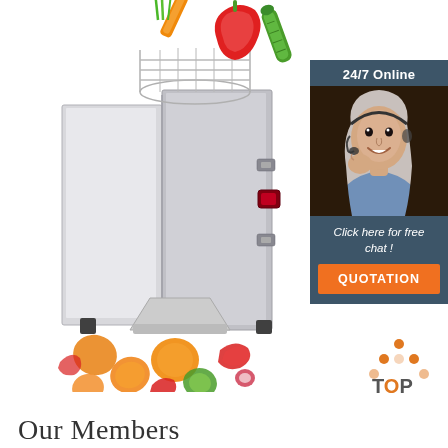[Figure (photo): Commercial vegetable cutting/slicing machine (stainless steel) with vegetables on top (carrots, red pepper, green onions, cucumber) and sliced vegetables scattered at bottom left. White background product photo.]
[Figure (infographic): Dark blue/teal chat widget box with '24/7 Online' header, photo of smiling female customer service representative with headset, italic text 'Click here for free chat !', and orange 'QUOTATION' button.]
[Figure (infographic): Orange dot pattern above text 'TOP' with orange O, indicating a back-to-top button graphic.]
Our Members